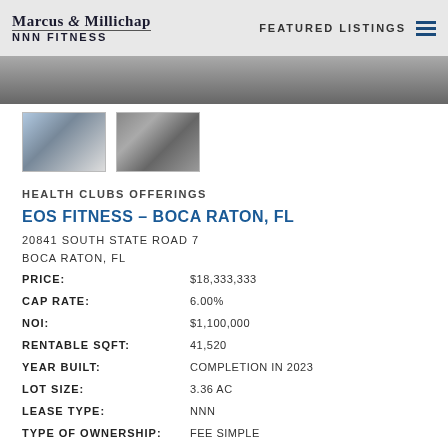Marcus & Millichap NNN FITNESS | FEATURED LISTINGS
[Figure (photo): Aerial/street view photo strip of property]
[Figure (photo): Thumbnail 1: exterior building photo]
[Figure (photo): Thumbnail 2: signage/aerial map photo]
HEALTH CLUBS OFFERINGS
EOS FITNESS – BOCA RATON, FL
20841 SOUTH STATE ROAD 7
BOCA RATON, FL
| Field | Value |
| --- | --- |
| PRICE: | $18,333,333 |
| CAP RATE: | 6.00% |
| NOI: | $1,100,000 |
| RENTABLE SQFT: | 41,520 |
| YEAR BUILT: | COMPLETION IN 2023 |
| LOT SIZE: | 3.36 AC |
| LEASE TYPE: | NNN |
| TYPE OF OWNERSHIP: | FEE SIMPLE |
| STATUS: | AVAILABLE |